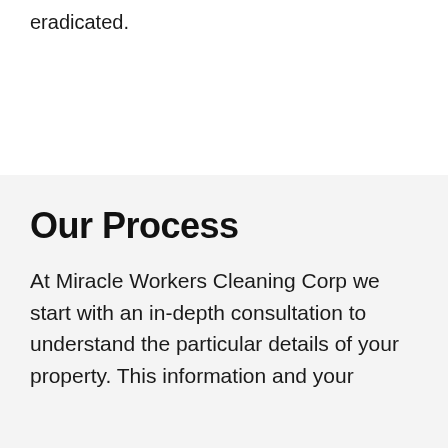eradicated.
Our Process
At Miracle Workers Cleaning Corp we start with an in-depth consultation to understand the particular details of your property. This information and your